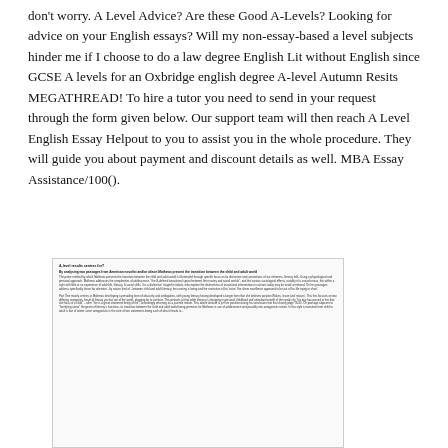don't worry. A Level Advice? Are these Good A-Levels? Looking for advice on your English essays? Will my non-essay-based a level subjects hinder me if I choose to do a law degree English Lit without English since GCSE A levels for an Oxbridge english degree A-level Autumn Resits MEGATHREAD! To hire a tutor you need to send in your request through the form given below. Our support team will then reach A Level English Essay Helpout to you to assist you in the whole procedure. They will guide you about payment and discount details as well. MBA Essay Assistance/100().
[Figure (screenshot): A screenshot of a student essay document with a title 'A-level results centres for?' and a subtitle beginning 'By analysing two passages from American novelist and/or alison Mathews present the transition between the child and adult world'. The document contains two paragraphs of dense academic text discussing Mathews and literary analysis.]